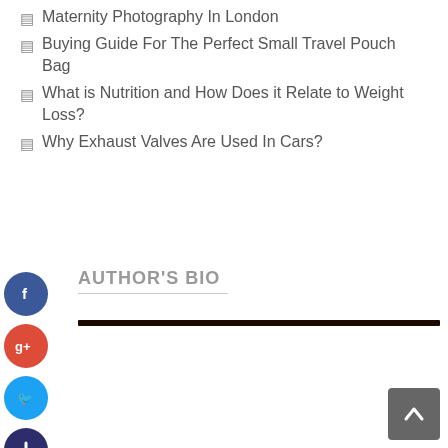Maternity Photography In London
Buying Guide For The Perfect Small Travel Pouch Bag
What is Nutrition and How Does it Relate to Weight Loss?
Why Exhaust Valves Are Used In Cars?
AUTHOR'S BIO
[Figure (other): Social media share buttons: Facebook, Google+, Twitter, and a plus/add button arranged vertically on the left side]
[Figure (other): Back to top button (arrow up) in bottom right corner]